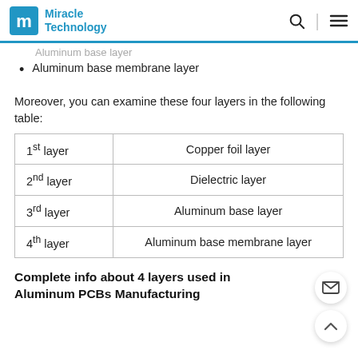Miracle Technology
Aluminum base layer
Aluminum base membrane layer
Moreover, you can examine these four layers in the following table:
| 1st layer | Copper foil layer |
| 2nd layer | Dielectric layer |
| 3rd layer | Aluminum base layer |
| 4th layer | Aluminum base membrane layer |
Complete info about 4 layers used in Aluminum PCBs Manufacturing